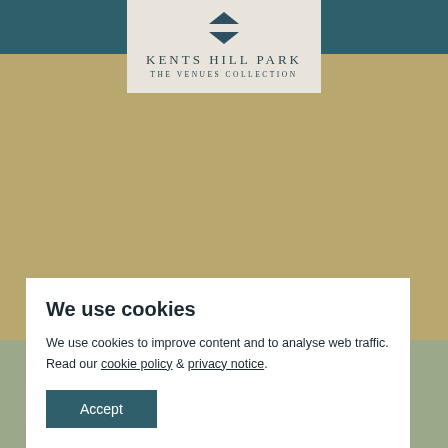Kents Hill Park – The Venues Collection – website header with phone icon, location pin icon, logo, and hamburger menu
[Figure (photo): Close-up food photo showing pasta with pesto sauce, mozzarella and parmesan on a white plate]
We use cookies
We use cookies to improve content and to analyse web traffic. Read our cookie policy & privacy notice.
Accept